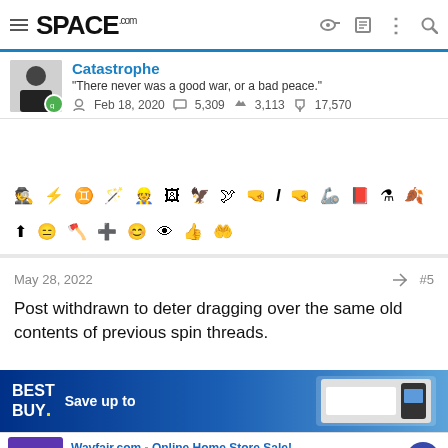SPACE.com
Catastrophe
"There never was a good war, or a bad peace."
Feb 18, 2020   5,309   3,113   17,570
[Figure (infographic): Row of achievement/badge icons]
May 28, 2022   #5
Post withdrawn to deter dragging over the same old contents of previous spin threads.
[Figure (infographic): Best Buy advertisement - Save up to]
[Figure (infographic): Wayfair.com - Online Home Store Sale! Shop for A Zillion Things Home across all styles at Wayfair! www.wayfair.com]